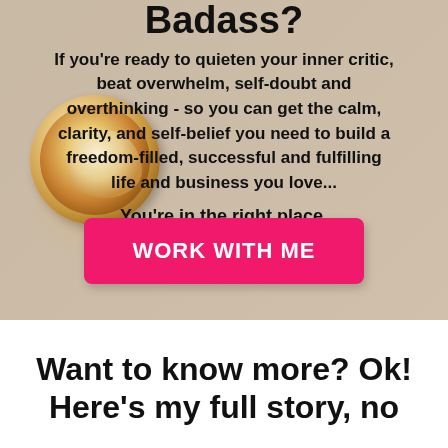Badass?
If you're ready to quieten your inner critic, beat overwhelm, self-doubt and overthinking - so you can get the calm, clarity, and self-belief you need to build a freedom-filled, successful and fulfilling life and business you love...
You're in the right place.
[Figure (other): Pink call-to-action button labeled WORK WITH ME]
Want to know more? Ok! Here's my full story, no